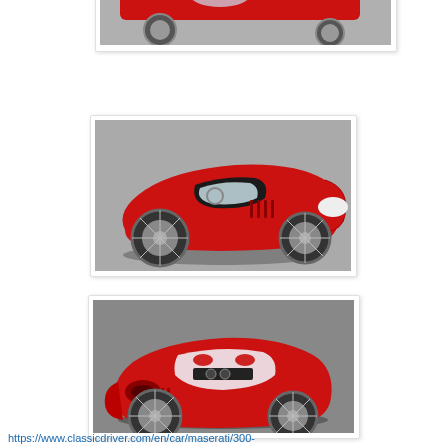[Figure (photo): Partial view of a red vintage Maserati sports racing car, top portion cropped, viewed from above-rear angle on a track surface]
[Figure (photo): Red vintage Maserati 300S open-top racing sports car, side-front three-quarter view, white wire wheels, on a grey track surface]
[Figure (photo): Red vintage Maserati 300S open-top racing sports car, rear three-quarter view, white wire wheels, showing cockpit and rear body, on a track surface]
https://www.classicdriver.com/en/car/maserati/300-